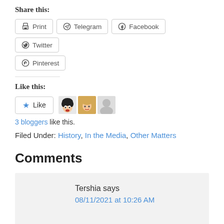Share this:
Print  Telegram  Facebook  Twitter  Pinterest
Like this:
Like  [3 blogger avatars]
3 bloggers like this.
Filed Under: History, In the Media, Other Matters
Comments
Tershia says
08/11/2021 at 10:26 AM